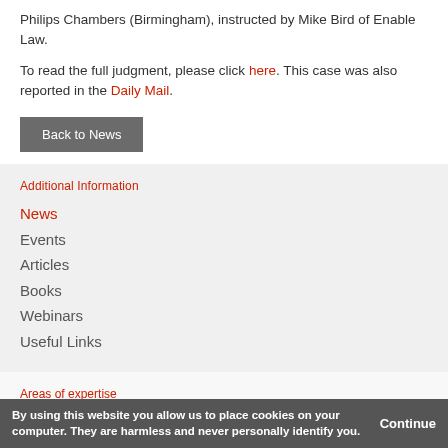Philips Chambers (Birmingham), instructed by Mike Bird of Enable Law.
To read the full judgment, please click here. This case was also reported in the Daily Mail.
Back to News
Additional Information
News
Events
Articles
Books
Webinars
Useful Links
Areas of expertise
By using this website you allow us to place cookies on your computer. They are harmless and never personally identify you. Continue